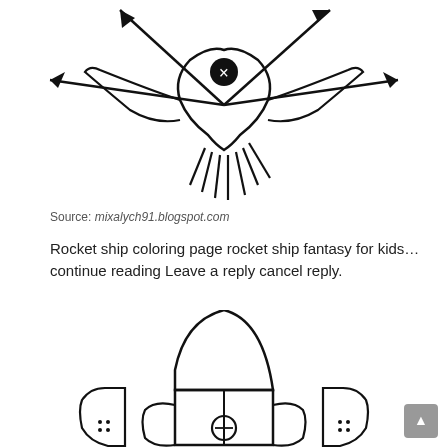[Figure (illustration): A cartoon-style coloring page drawing of a rocket ship or alien figure viewed from above, with star/arrow shapes pointing outward and a circular X symbol in the center, rendered as black line art on white background.]
Source: mixalych91.blogspot.com
Rocket ship coloring page rocket ship fantasy for kids… continue reading Leave a reply cancel reply.
[Figure (illustration): A coloring page drawing of a classic rocket ship with a pointed nose cone, cylindrical body with a circular X window, horizontal dividing lines, and two small triangular boosters on each side, rendered as black line art on white background.]